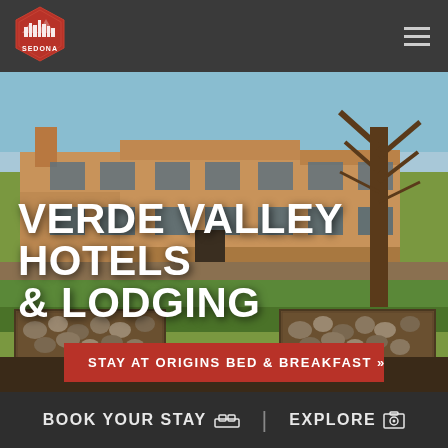[Figure (logo): Sedona logo — red hexagon badge with city skyline silhouette and text SEDONA]
[Figure (photo): Photograph of a Southwest adobe-style building (hotel/B&B) with tan stucco walls, flat roof, large windows, green lawn, bare tree on right, stone gabion planters in foreground, blue sky background]
VERDE VALLEY HOTELS & LODGING
STAY AT ORIGINS BED & BREAKFAST »
BOOK YOUR STAY  |  EXPLORE